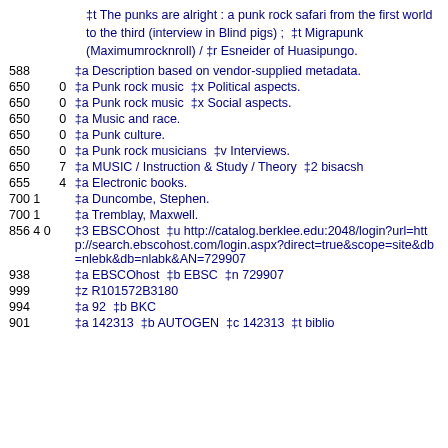‡t The punks are alright : a punk rock safari from the first world to the third (interview in Blind pigs) ; ‡t Migrapunk (Maximumrocknroll) / ‡r Esneider of Huasipungo.
| 588 |  | ‡a Description based on vendor-supplied metadata. |
| 650 | 0 | ‡a Punk rock music ‡x Political aspects. |
| 650 | 0 | ‡a Punk rock music ‡x Social aspects. |
| 650 | 0 | ‡a Music and race. |
| 650 | 0 | ‡a Punk culture. |
| 650 | 0 | ‡a Punk rock musicians ‡v Interviews. |
| 650 | 7 | ‡a MUSIC / Instruction & Study / Theory ‡2 bisacsh |
| 655 | 4 | ‡a Electronic books. |
| 700 | 1 | ‡a Duncombe, Stephen. |
| 700 | 1 | ‡a Tremblay, Maxwell. |
| 856 | 4 0 | ‡3 EBSCOhost ‡u http://catalog.berklee.edu:2048/login?url=http://search.ebscohost.com/login.aspx?direct=true&scope=site&db=nlebk&db=nlabk&AN=729907 |
| 938 |  | ‡a EBSCOhost ‡b EBSC ‡n 729907 |
| 999 |  | ‡z R101572B3180 |
| 994 |  | ‡a 92 ‡b BKC |
| 901 |  | ‡a 142313 ‡b AUTOGEN ‡c 142313 ‡t biblio |